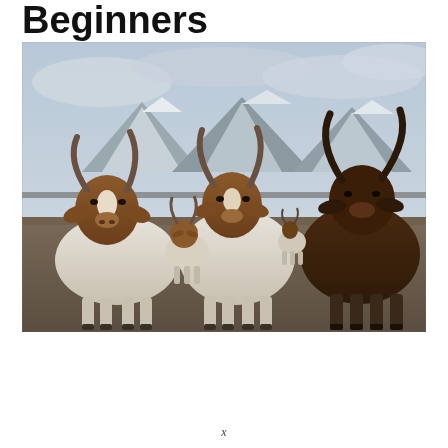Beginners
[Figure (photo): A group of Boer goats with brown heads and white bodies, standing in a field with snow-capped mountains in the background under a cloudy sky. The goats face the camera directly.]
[Figure (infographic): Advertisement banner with dark green forest background showing a primate/monkey. Text reads: 'Just $2 can protect 1 acre of irreplaceable forest homes in the Amazon. How many acres are you willing to protect?' with a green 'PROTECT FORESTS NOW' button.]
x